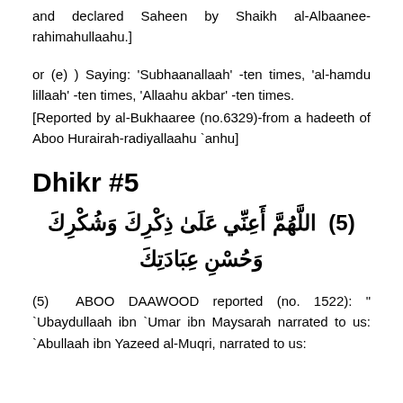and declared Saheen by Shaikh al-Albaanee-rahimahullaahu.]
or (e) ) Saying: 'Subhaanallaah' -ten times, 'al-hamdu lillaah' -ten times, 'Allaahu akbar' -ten times.
[Reported by al-Bukhaaree (no.6329)-from a hadeeth of Aboo Hurairah-radiyallaahu `anhu]
Dhikr #5
[Figure (other): (5) Arabic text: Allahumma a'innee 'alaa dhikrika wa shukrika wa husni 'ibaadatik]
(5) ABOO DAAWOOD reported (no. 1522): " `Ubaydullaah ibn `Umar ibn Maysarah narrated to us: `Abullaah ibn Yazeed al-Muqri, narrated to us: